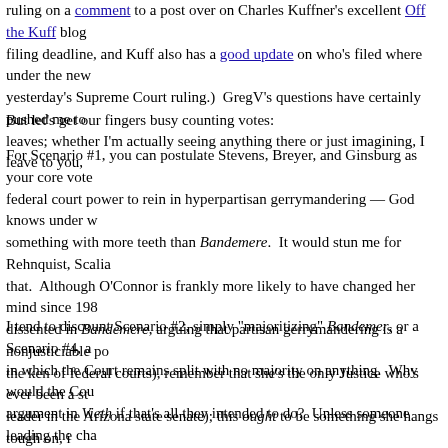ruling on a comment to a post over on Charles Kuffner's excellent Off the Kuff blog filing deadline, and Kuff also has a good update on who's filed where under the new yesterday's Supreme Court ruling.)  GregV's questions have certainly pushed me to leaves; whether I'm actually seeing anything there or just imagining, I leave to you,
But let's get our fingers busy counting votes:
For Scenario #1, you can postulate Stevens, Breyer, and Ginsburg as your core vote federal court power to rein in hyperpartisan gerrymandering — God knows under w something with more teeth than Bandemere.  It would stun me for Rehnquist, Scali that.  Although O'Connor is frankly more likely to have changed her mind since 198 dissented in Bandemere, arguing that partisan gerrymandering is a nonjusticiable po the ken of federal courts), remember that she's the only Justice who's ever been a st leader in the Arizona state senate); this ought to be something she hangs tough on, i as a matter of absolute principle.  I certainly could imagine both Souter and Kennedy something tougher than Bandemer in theory.  But if both of them had so voted at th was argued, why wouldn't they have joined Stevens, Breyer, and Ginsburg to grant t from Texas?
I tend to discount Scenario #2, simply "majoritizing" Bandemer, or a Scenario #4, a in which the Court remains split with no majority on anything.  Why would the Cou argument in Vieth if that's all they intended to do?  Unless someone leading the cha other already believed they had the crucial fifth vote, why not just leave Bandemere have just summarily affirmed in Vieth and saved themselves the trouble (and in the embarrassment)!